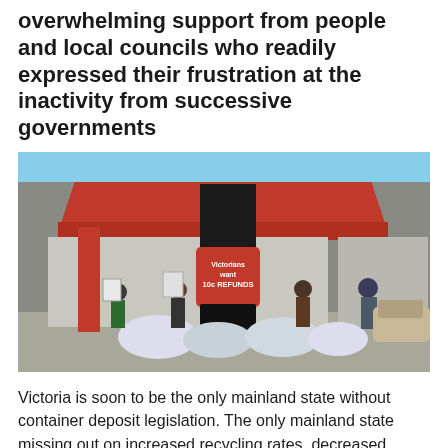overwhelming support from people and local councils who readily expressed their frustration at the inactivity from successive governments
[Figure (photo): Outdoor protest scene with a large inflatable bottle shaped like a Coca-Cola bottle with a red label reading 'Victorians want 10c REFUNDS'. Several protesters stand around it holding bags of recyclable containers, in front of a red-roofed building on a clear day.]
Victoria is soon to be the only mainland state without container deposit legislation. The only mainland state missing out on increased recycling rates, decreased